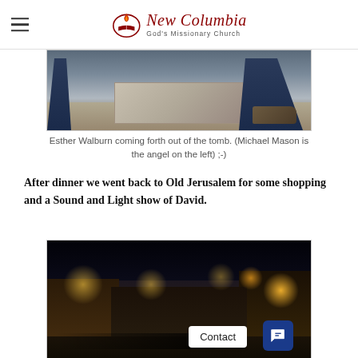New Columbia God's Missionary Church
[Figure (photo): Person (Esther Walburn) coming forth out of a stone tomb, with legs visible on both sides and a stone slab in the center, taken at a historical site.]
Esther Walburn coming forth out of the tomb. (Michael Mason is the angel on the left) ;-)
After dinner we went back to Old Jerusalem for some shopping and a Sound and Light show of David.
[Figure (photo): Night scene of Old Jerusalem market area with warm lights illuminating stone buildings and people in the streets. A 'Contact' button and chat icon overlay are visible in the lower right.]